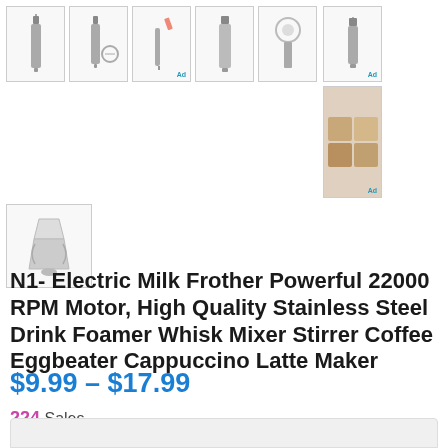[Figure (screenshot): Product thumbnail gallery showing multiple views of an electric milk frother. Top row has 6 small thumbnail images of the product from different angles and with accessories. Right column has one small thumbnail and one larger composite thumbnail. Below is one more single thumbnail image.]
N1- Electric Milk Frother Powerful 22000 RPM Motor, High Quality Stainless Steel Drink Foamer Whisk Mixer Stirrer Coffee Eggbeater Cappuccino Latte Maker
$9.99 – $17.99
224 Sales